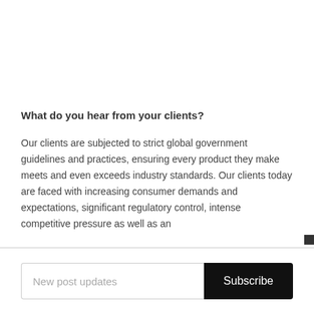What do you hear from your clients?
Our clients are subjected to strict global government guidelines and practices, ensuring every product they make meets and even exceeds industry standards. Our clients today are faced with increasing consumer demands and expectations, significant regulatory control, intense competitive pressure as well as an
New post updates  Subscribe